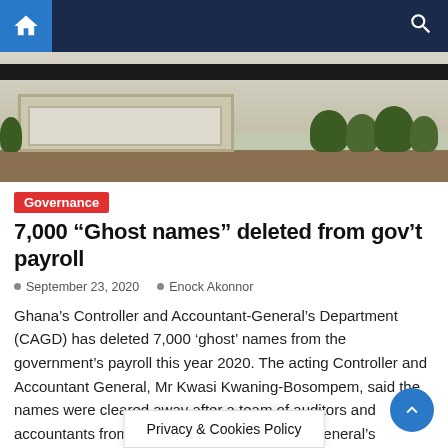Navigation bar with home and search icons
[Figure (photo): Exterior photo of a building with concrete planters and shrubs/bushes along the base]
Governance
7,000 “Ghost names” deleted from gov’t payroll
September 23, 2020   Enock Akonnor
Ghana’s Controller and Accountant-General’s Department (CAGD) has deleted 7,000 ‘ghost’ names from the government’s payroll this year 2020. The acting Controller and Accountant General, Mr Kwasi Kwaning-Bosompem, said the names were cleared away after a team of auditors and accountants from the CAGD and the Auditor-General’s Department had toured the country to enumerate workers on [...]
Privacy & Cookies Policy